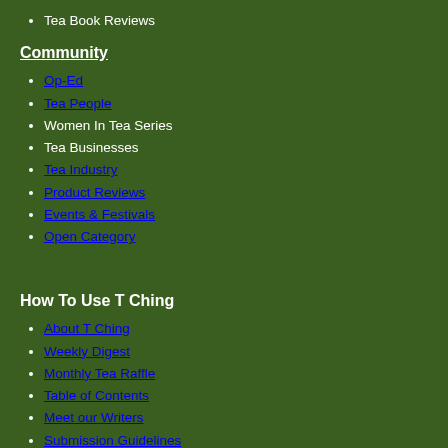Tea Book Reviews
Community
Op-Ed
Tea People
Women In Tea Series
Tea Businesses
Tea Industry
Product Reviews
Events & Festivals
Open Category
How To Use T Ching
About T Ching
Weekly Digest
Monthly Tea Raffle
Table of Contents
Meet our Writers
Submission Guidelines
Tea Sippers Society
Tea Entrepreneurs
Contact Us